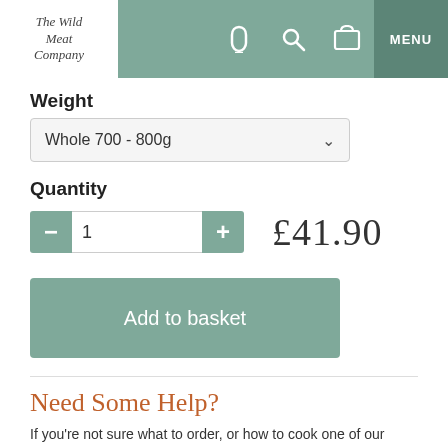The Wild Meat Company — MENU
Weight
Whole 700 - 800g
Quantity
1   £41.90
Add to basket
Need Some Help?
If you're not sure what to order, or how to cook one of our products, simply get in touch on 01728 687627 or annabel@wildmeat.co.uk and we will pleased to help.